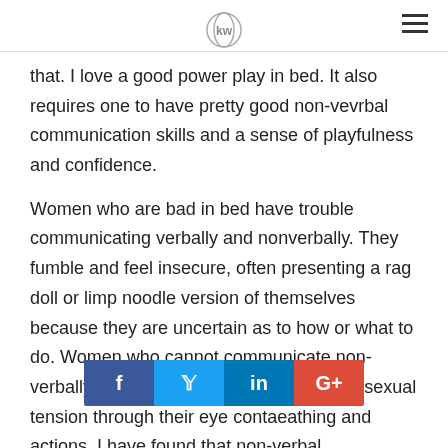[KW logo] [hamburger menu]
that. I love a good power play in bed. It also requires one to have pretty good non-vevrbal communication skills and a sense of playfulness and confidence.
Women who are bad in bed have trouble communicating verbally and nonverbally. They fumble and feel insecure, often presenting a rag doll or limp noodle version of themselves because they are uncertain as to how or what to do. Women who cannot communicate non-verbally in bed are not good at increasing sexual tension through their eye conta [social bar overlay] eathing and actions. I have found that non-verbal
[Figure (other): Social sharing bar with Facebook, Twitter, LinkedIn, and Google+ buttons]